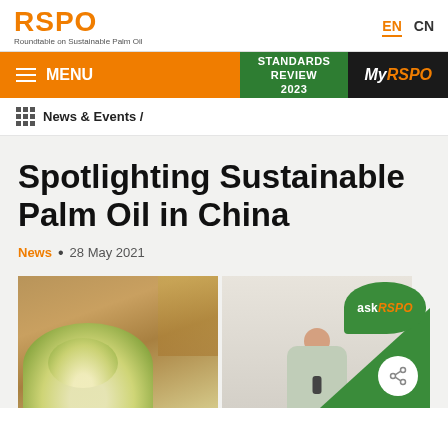RSPO — Roundtable on Sustainable Palm Oil | EN | CN
MENU | STANDARDS REVIEW 2023 | MyRSPO
News & Events /
Spotlighting Sustainable Palm Oil in China
News • 28 May 2021
[Figure (photo): Event photo showing floral arrangement on left, a woman speaking into a microphone in the center, and askRSPO chat bubble logo with share button on the right]